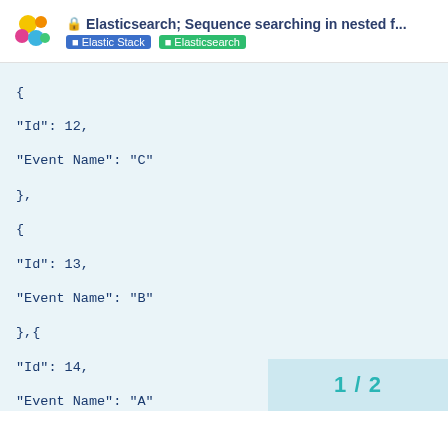Elasticsearch; Sequence searching in nested f... | Elastic Stack | Elasticsearch
{
"Id": 12,
"Event Name": "C"
},
{
"Id": 13,
"Event Name": "B"
},{
"Id": 14,
"Event Name": "A"
},
{
"Id": 15,
"Event Name": "B"
},
{
"Id": 16,
"Event Name": "A"
},
1 / 2